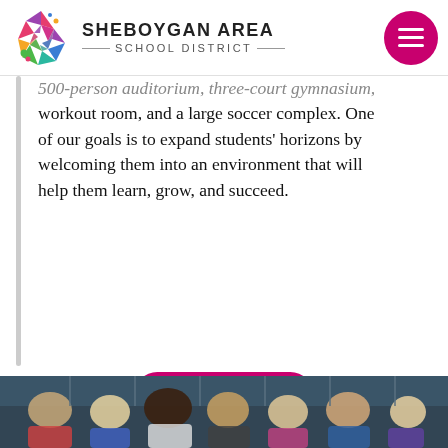[Figure (logo): Sheboygan Area School District logo — colorful starburst/people icon with district name and hamburger menu button]
500-person auditorium, three-court gymnasium, workout room, and a large soccer complex. One of our goals is to expand students' horizons by welcoming them into an environment that will help them learn, grow, and succeed.
WEBSITE
[Figure (photo): Group photo of students standing in front of blue lockers]